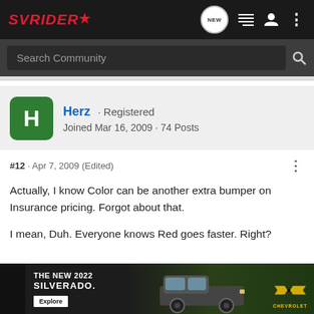SVRIDER | Search Community | NEW
Herz · Registered
Joined Mar 16, 2009 · 74 Posts
#12 · Apr 7, 2009 (Edited)
Actually, I know Color can be another extra bumper on Insurance pricing. Forgot about that.

I mean, Duh. Everyone knows Red goes faster. Right?
[Figure (photo): Chevrolet 2022 Silverado advertisement banner with truck image and Explore button]